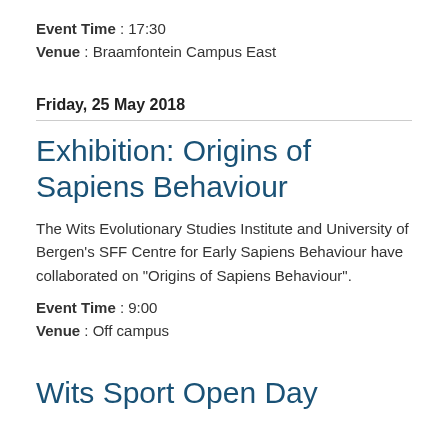Event Time : 17:30
Venue : Braamfontein Campus East
Friday, 25 May 2018
Exhibition: Origins of Sapiens Behaviour
The Wits Evolutionary Studies Institute and University of Bergen's SFF Centre for Early Sapiens Behaviour have collaborated on "Origins of Sapiens Behaviour".
Event Time : 9:00
Venue : Off campus
Wits Sport Open Day